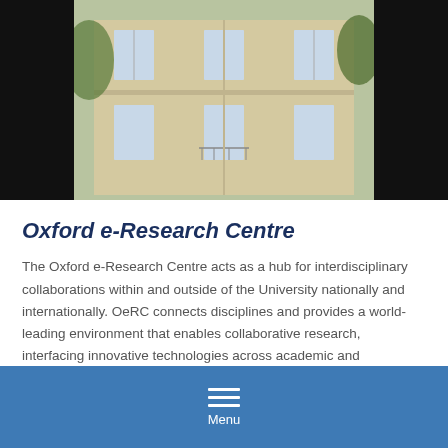[Figure (photo): Photograph of a stone university building with windows and trees, centered on a black background bar at the top of the page.]
Oxford e-Research Centre
The Oxford e-Research Centre acts as a hub for interdisciplinary collaborations within and outside of the University nationally and internationally. OeRC connects disciplines and provides a world-leading environment that enables collaborative research, interfacing innovative technologies across academic and commercial partnerships to address the grand challenges of today and the future.
Menu